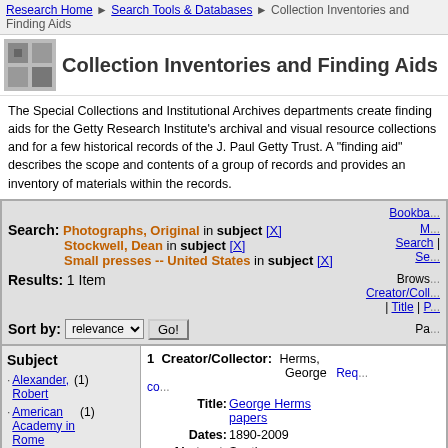Research Home > Search Tools & Databases > Collection Inventories and Finding Aids
Collection Inventories and Finding Aids
The Special Collections and Institutional Archives departments create finding aids for the Getty Research Institute's archival and visual resource collections and for a few historical records of the J. Paul Getty Trust. A "finding aid" describes the scope and contents of a group of records and provides an inventory of materials within the records.
Search: Photographs, Original in subject [X] Stockwell, Dean in subject [X] Small presses -- United States in subject [X]
Results: 1 Item
Sort by: relevance Go!
Subject
Alexander, Robert (1)
American Academy in Rome (1)
Art, American -- 20th century
1 Creator/Collector: Herms, George  Title: George Herms papers  Dates: 1890-2009  Abstract: Southern California